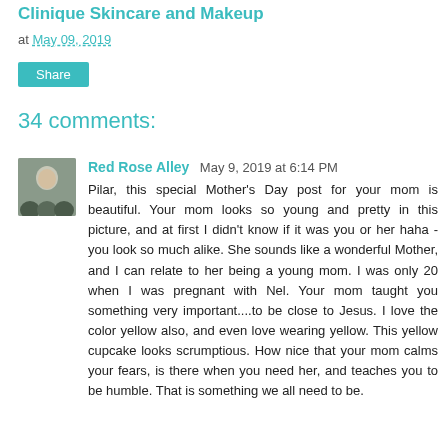Clinique Skincare and Makeup
at May 09, 2019
Share
34 comments:
Red Rose Alley  May 9, 2019 at 6:14 PM
Pilar, this special Mother's Day post for your mom is beautiful. Your mom looks so young and pretty in this picture, and at first I didn't know if it was you or her haha - you look so much alike. She sounds like a wonderful Mother, and I can relate to her being a young mom. I was only 20 when I was pregnant with Nel. Your mom taught you something very important....to be close to Jesus. I love the color yellow also, and even love wearing yellow. This yellow cupcake looks scrumptious. How nice that your mom calms your fears, is there when you need her, and teaches you to be humble. That is something we all need to be.